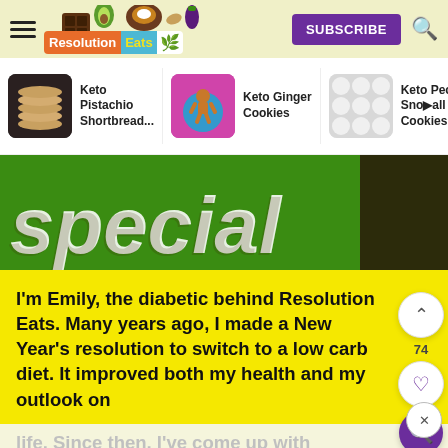Resolution Eats — SUBSCRIBE
[Figure (screenshot): Resolution Eats website header with logo, Subscribe button, and search icon]
[Figure (screenshot): Navigation strip showing Keto Pistachio Shortbread, Keto Ginger Cookies, Keto Pecan Snowball Cookies thumbnails]
[Figure (illustration): Green hero banner with large white italic 'special' text and chocolate decoration]
I'm Emily, the diabetic behind Resolution Eats. Many years ago, I made a New Year's resolution to switch to a low carb diet. It improved both my health and my outlook on life. Since then, I've come up with hundreds of Keto recipes for